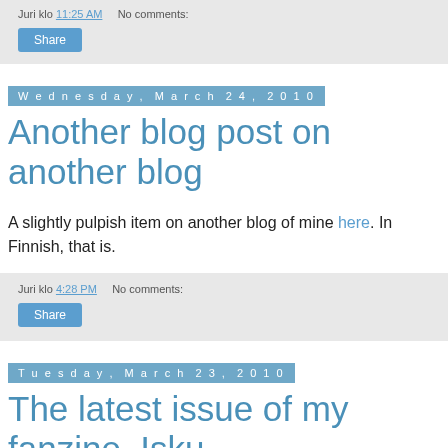Juri klo 11:25 AM   No comments:
Share
Wednesday, March 24, 2010
Another blog post on another blog
A slightly pulpish item on another blog of mine here. In Finnish, that is.
Juri klo 4:28 PM   No comments:
Share
Tuesday, March 23, 2010
The latest issue of my fanzine, Isku
[Figure (photo): Black and white cover of fanzine Isku showing text ISKU with a moon/circle design]
Here's the cover by Timo